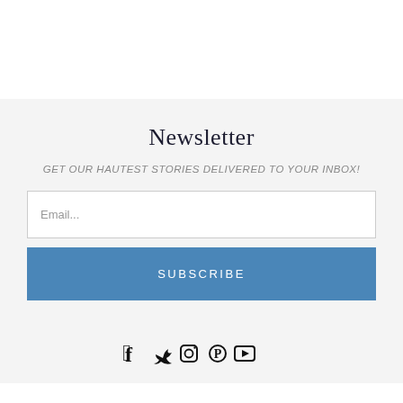Newsletter
GET OUR HAUTEST STORIES DELIVERED TO YOUR INBOX!
Email...
SUBSCRIBE
[Figure (illustration): Social media icons: Facebook, Twitter, Instagram, Pinterest, YouTube]